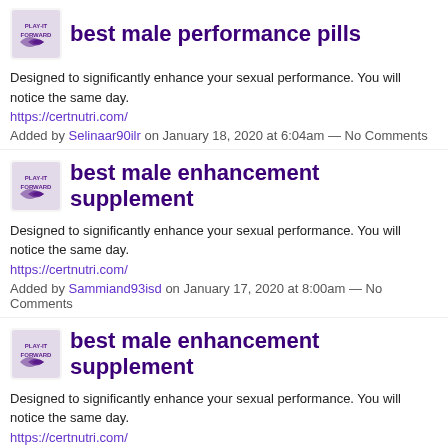best male performance pills
Designed to significantly enhance your sexual performance. You will notice the same day.
https://certnutri.com/
Added by Selinaar90ilr on January 18, 2020 at 6:04am — No Comments
best male enhancement supplement
Designed to significantly enhance your sexual performance. You will notice the same day.
https://certnutri.com/
Added by Sammiand93isd on January 17, 2020 at 8:00am — No Comments
best male enhancement supplement
Designed to significantly enhance your sexual performance. You will notice the same day.
https://certnutri.com/
Added by panama city beach fl dui lawyer on January 9, 2020 at 2:52am — No Co